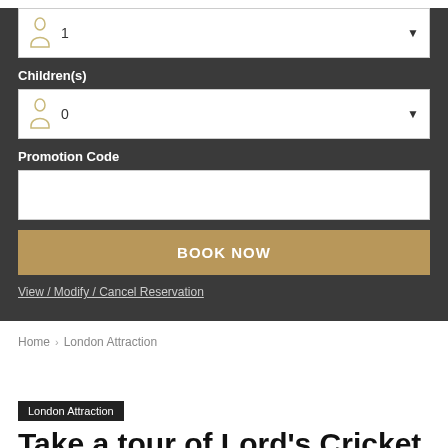Children(s)
0
Promotion Code
BOOK NOW
View / Modify / Cancel Reservation
Home › London Attraction
London Attraction
Take a tour of Lord's Cricket